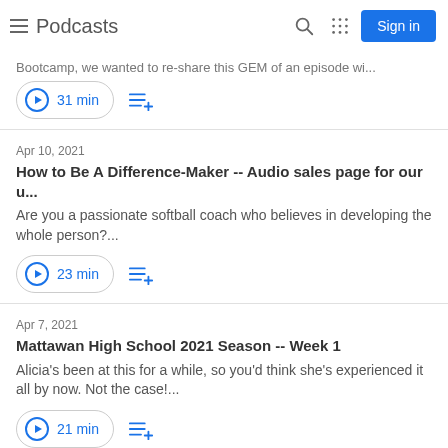Podcasts | Sign in
Bootcamp, we wanted to re-share this GEM of an episode wi...
31 min
Apr 10, 2021
How to Be A Difference-Maker -- Audio sales page for our u...
Are you a passionate softball coach who believes in developing the whole person?...
23 min
Apr 7, 2021
Mattawan High School 2021 Season -- Week 1
Alicia's been at this for a while, so you'd think she's experienced it all by now. Not the case!...
21 min